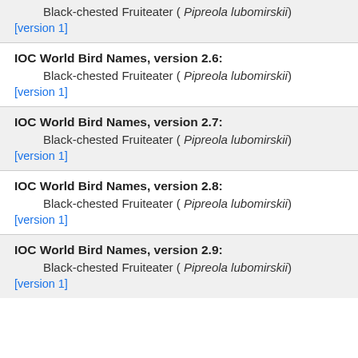Black-chested Fruiteater ( Pipreola lubomirskii)
[version 1]
IOC World Bird Names, version 2.6:
Black-chested Fruiteater ( Pipreola lubomirskii)
[version 1]
IOC World Bird Names, version 2.7:
Black-chested Fruiteater ( Pipreola lubomirskii)
[version 1]
IOC World Bird Names, version 2.8:
Black-chested Fruiteater ( Pipreola lubomirskii)
[version 1]
IOC World Bird Names, version 2.9:
Black-chested Fruiteater ( Pipreola lubomirskii)
[version 1]